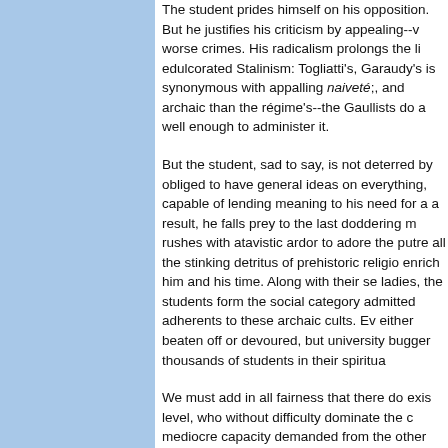The student prides himself on his opposition. But he justifies his criticism by appealing--worse crimes. His radicalism prolongs the life of edulcorated Stalinism: Togliatti's, Garaudy's is synonymous with appalling naiveté;, and more archaic than the régime's--the Gaullists do a well enough to administer it.
But the student, sad to say, is not deterred by obliged to have general ideas on everything, capable of lending meaning to his need for a result, he falls prey to the last doddering rushes with atavistic ardor to adore the putre all the stinking detritus of prehistoric religio enrich him and his time. Along with their se ladies, the students form the social category admitted adherents to these archaic cults. Ev either beaten off or devoured, but university bugger thousands of students in their spiritua
We must add in all fairness that there do exis level, who without difficulty dominate the c mediocre capacity demanded from the other that they have understood the system, and so be its enemies. They are in the system for wh particularly grants. Exploiting the contradict